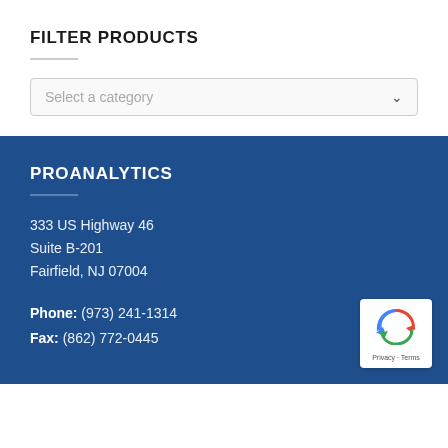FILTER PRODUCTS
Select a category
PROANALYTICS
333 US Highway 46
Suite B-201
Fairfield, NJ 07004
Phone: (973) 241-1314
Fax: (862) 772-0445